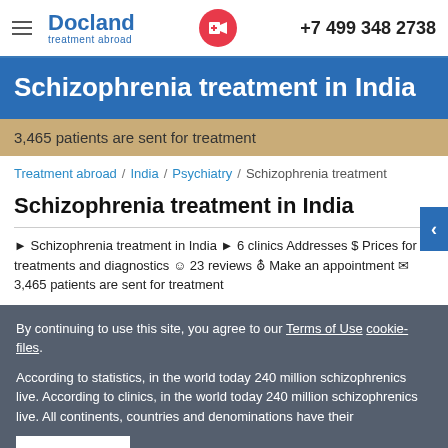Docland treatment abroad | +7 499 348 2738
Schizophrenia treatment in India
3,465 patients are sent for treatment
Treatment abroad / India / Psychiatry / Schizophrenia treatment
Schizophrenia treatment in India
► Schizophrenia treatment in India ► 6 clinics Addresses $ Prices for treatments and diagnostics ☺ 23 reviews ✦ Make an appointment ✉ 3,465 patients are sent for treatment
By continuing to use this site, you agree to our Terms of Use cookie-files. Accept